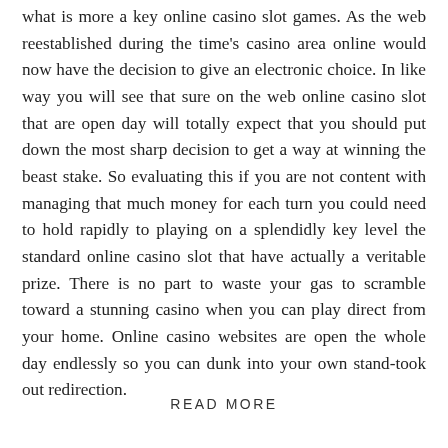what is more a key online casino slot games. As the web reestablished during the time's casino area online would now have the decision to give an electronic choice. In like way you will see that sure on the web online casino slot that are open day will totally expect that you should put down the most sharp decision to get a way at winning the beast stake. So evaluating this if you are not content with managing that much money for each turn you could need to hold rapidly to playing on a splendidly key level the standard online casino slot that have actually a veritable prize. There is no part to waste your gas to scramble toward a stunning casino when you can play direct from your home. Online casino websites are open the whole day endlessly so you can dunk into your own stand-took out redirection.
READ MORE